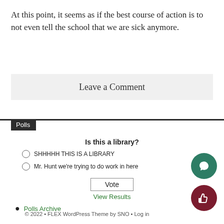At this point, it seems as if the best course of action is to not even tell the school that we are sick anymore.
Leave a Comment
Polls
Is this a library?
SHHHHH THIS IS A LIBRARY
Mr. Hunt we're trying to do work in here
Vote
View Results
Polls Archive
© 2022 • FLEX WordPress Theme by SNO • Log in